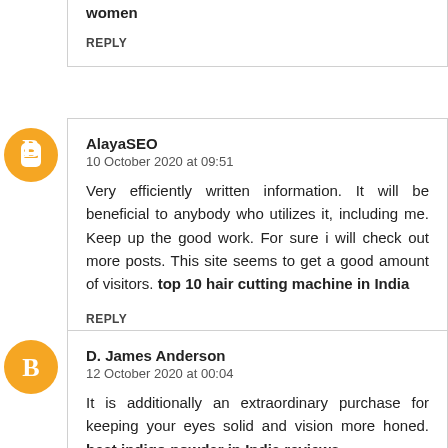women
REPLY
AlayaSEO
10 October 2020 at 09:51
Very efficiently written information. It will be beneficial to anybody who utilizes it, including me. Keep up the good work. For sure i will check out more posts. This site seems to get a good amount of visitors. top 10 hair cutting machine in India
REPLY
D. James Anderson
12 October 2020 at 00:04
It is additionally an extraordinary purchase for keeping your eyes solid and vision more honed. best indigo powder in India reviews